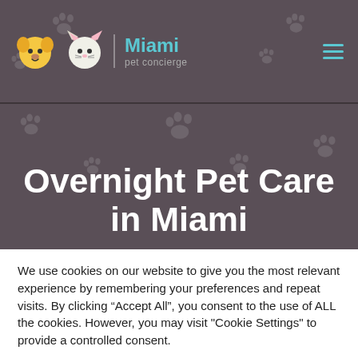[Figure (logo): Miami Pet Concierge logo with two cartoon pet faces (dog and cat) and brand name in teal and grey text]
Overnight Pet Care in Miami
We use cookies on our website to give you the most relevant experience by remembering your preferences and repeat visits. By clicking “Accept All”, you consent to the use of ALL the cookies. However, you may visit "Cookie Settings" to provide a controlled consent.